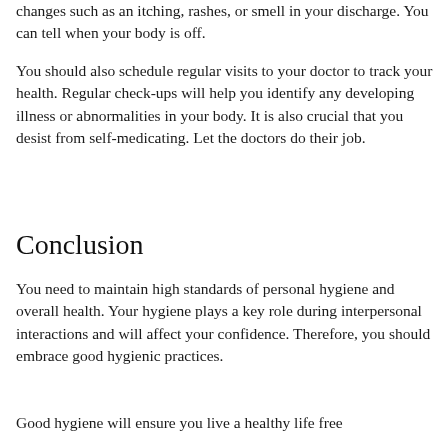changes such as an itching, rashes, or smell in your discharge. You can tell when your body is off.
You should also schedule regular visits to your doctor to track your health. Regular check-ups will help you identify any developing illness or abnormalities in your body. It is also crucial that you desist from self-medicating. Let the doctors do their job.
Conclusion
You need to maintain high standards of personal hygiene and overall health. Your hygiene plays a key role during interpersonal interactions and will affect your confidence. Therefore, you should embrace good hygienic practices.
Good hygiene will ensure you live a healthy life free